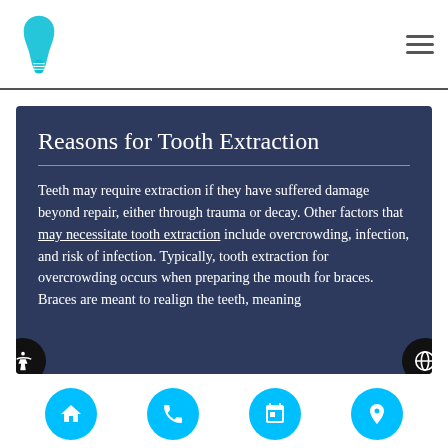[Figure (logo): Dental clinic logo with tooth/implant icon and clinic name text below]
Reasons for Tooth Extraction
Teeth may require extraction if they have suffered damage beyond repair, either through trauma or decay. Other factors that may necessitate tooth extraction include overcrowding, infection, and risk of infection. Typically, tooth extraction for overcrowding occurs when preparing the mouth for braces. Braces are meant to realign the teeth, meaning